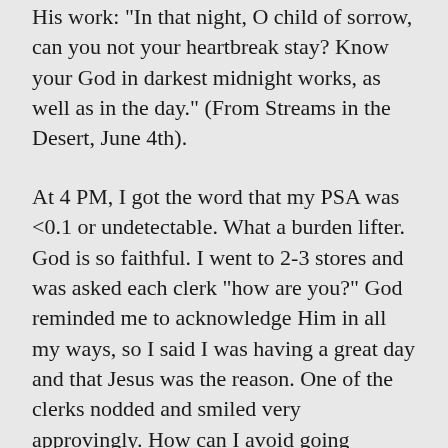His work: "In that night, O child of sorrow, can you not your heartbreak stay? Know your God in darkest midnight works, as well as in the day." (From Streams in the Desert, June 4th).
At 4 PM, I got the word that my PSA was <0.1 or undetectable. What a burden lifter. God is so faithful. I went to 2-3 stores and was asked each clerk “how are you?” God reminded me to acknowledge Him in all my ways, so I said I was having a great day and that Jesus was the reason. One of the clerks nodded and smiled very approvingly. How can I avoid going through the fear and trepidation in 2-3 months when we measure PSA again??????
From my pastor at the news of my PSA, “This